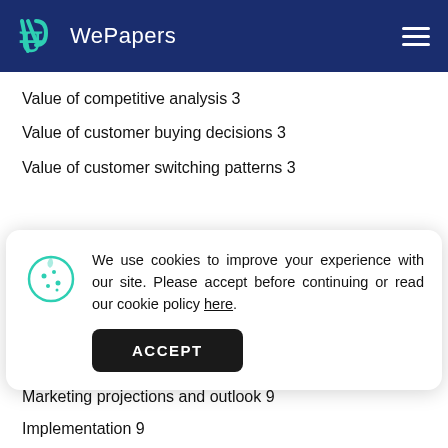WePapers
Value of competitive analysis 3
Value of customer buying decisions 3
Value of customer switching patterns 3
We use cookies to improve your experience with our site. Please accept before continuing or read our cookie policy here.
Promotional strategy 7
Internet strategy 8
Marketing projections and outlook 9
Implementation 9